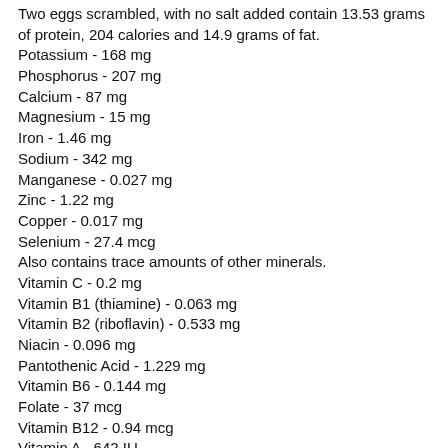Two eggs scrambled, with no salt added contain 13.53 grams of protein, 204 calories and 14.9 grams of fat. Potassium - 168 mg Phosphorus - 207 mg Calcium - 87 mg Magnesium - 15 mg Iron - 1.46 mg Sodium - 342 mg Manganese - 0.027 mg Zinc - 1.22 mg Copper - 0.017 mg Selenium - 27.4 mcg Also contains trace amounts of other minerals. Vitamin C - 0.2 mg Vitamin B1 (thiamine) - 0.063 mg Vitamin B2 (riboflavin) - 0.533 mg Niacin - 0.096 mg Pantothenic Acid - 1.229 mg Vitamin B6 - 0.144 mg Folate - 37 mcg Vitamin B12 - 0.94 mcg Vitamin A - 642 IU Vitamin E - 1.33 mg Vitamin K - 4.9 mcg Vitamin D - 59 IU Contains some other vitamins in small amounts.
Goat Milk
One cup of goat milk contains 8.69 grams of protein, 168 calories and 10.1 grams of fat. Potassium - 498 mg Phosphorus - 271 mg